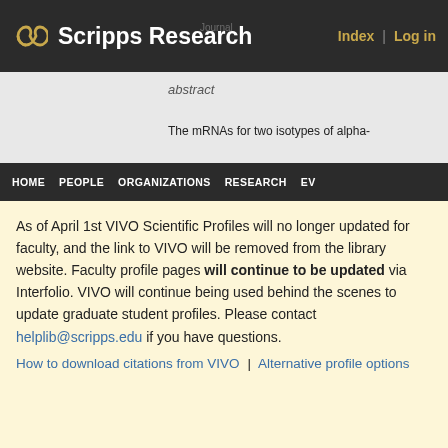Scripps Research
abstract
The mRNAs for two isotypes of alpha-
As of April 1st VIVO Scientific Profiles will no longer updated for faculty, and the link to VIVO will be removed from the library website. Faculty profile pages will continue to be updated via Interfolio. VIVO will continue being used behind the scenes to update graduate student profiles. Please contact helplib@scripps.edu if you have questions.
How to download citations from VIVO | Alternative profile options
brain; 126 mRNA is expressed in many embryonic tissues with little change in abundance during development. Within the nervous system, T alpha 1 mRNA is enriched in regions with neurons actively undergoing neurite extension, such as the cortical plate